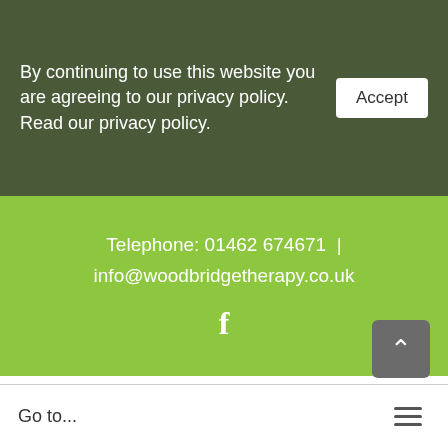By continuing to use this website you are agreeing to our privacy policy. Read our privacy policy.
Accept
Telephone: 01462 674671 | info@woodbridgetherapy.co.uk
[Figure (logo): Facebook icon (letter f) in white on green background]
[Figure (logo): Woodbridge Therapy Ltd logo with tree illustration and company name in dark red serif text]
Go to...